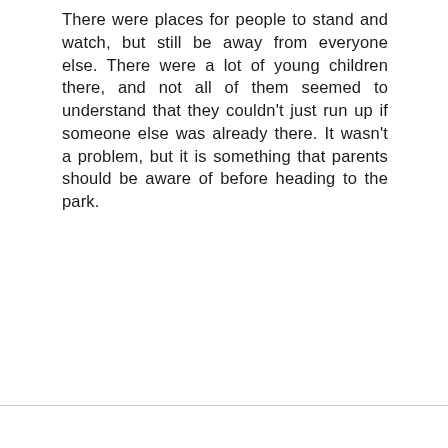There were places for people to stand and watch, but still be away from everyone else. There were a lot of young children there, and not all of them seemed to understand that they couldn't just run up if someone else was already there. It wasn't a problem, but it is something that parents should be aware of before heading to the park.